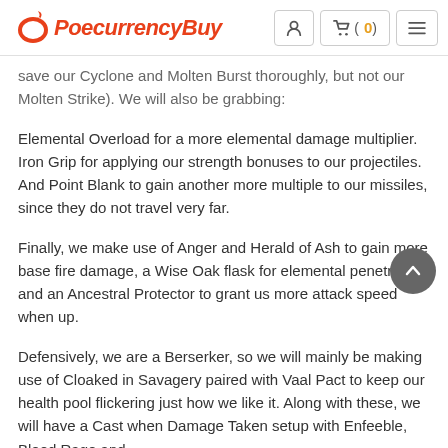PoecurrencyBuy
save our Cyclone and Molten Burst thoroughly, but not our Molten Strike). We will also be grabbing:
Elemental Overload for a more elemental damage multiplier.
Iron Grip for applying our strength bonuses to our projectiles.
And Point Blank to gain another more multiple to our missiles, since they do not travel very far.
Finally, we make use of Anger and Herald of Ash to gain more base fire damage, a Wise Oak flask for elemental penetration and an Ancestral Protector to grant us more attack speed when up.
Defensively, we are a Berserker, so we will mainly be making use of Cloaked in Savagery paired with Vaal Pact to keep our health pool flickering just how we like it. Along with these, we will have a Cast when Damage Taken setup with Enfeeble, Blood Rage and